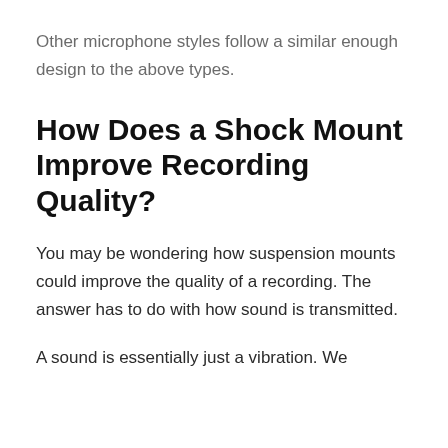Other microphone styles follow a similar enough design to the above types.
How Does a Shock Mount Improve Recording Quality?
You may be wondering how suspension mounts could improve the quality of a recording. The answer has to do with how sound is transmitted.
A sound is essentially just a vibration. We